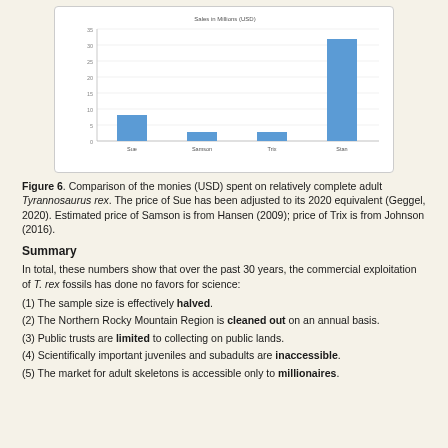[Figure (bar-chart): Sales in Millions (USD)]
Figure 6. Comparison of the monies (USD) spent on relatively complete adult Tyrannosaurus rex. The price of Sue has been adjusted to its 2020 equivalent (Geggel, 2020). Estimated price of Samson is from Hansen (2009); price of Trix is from Johnson (2016).
Summary
In total, these numbers show that over the past 30 years, the commercial exploitation of T. rex fossils has done no favors for science:
(1) The sample size is effectively halved.
(2) The Northern Rocky Mountain Region is cleaned out on an annual basis.
(3) Public trusts are limited to collecting on public lands.
(4) Scientifically important juveniles and subadults are inaccessible.
(5) The market for adult skeletons is accessible only to millionaires.